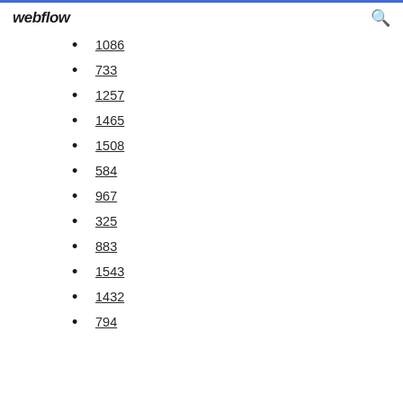webflow
1086
733
1257
1465
1508
584
967
325
883
1543
1432
794